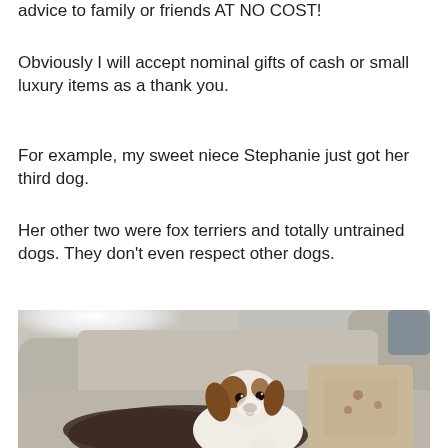advice to family or friends AT NO COST!
Obviously I will accept nominal gifts of cash or small luxury items as a thank you.
For example, my sweet niece Stephanie just got her third dog.
Her other two were fox terriers and totally untrained dogs. They don't even respect other dogs.
[Figure (photo): A small brown and white Jack Russell-type dog sitting on a couch surrounded by pillows and blankets, looking at the camera.]